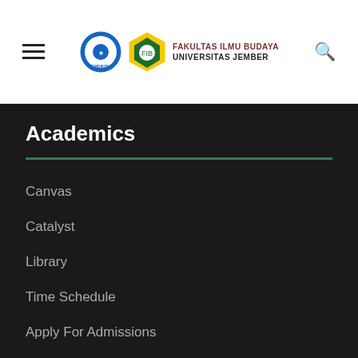Fakultas Ilmu Budaya Universitas Jember
Academics
Canvas
Catalyst
Library
Time Schedule
Apply For Admissions
Pay My Tuition